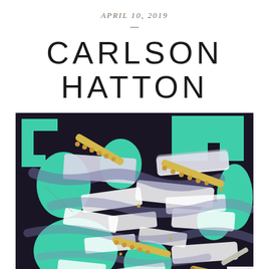APRIL 10, 2019
CARLSON HATTON
[Figure (photo): Abstract mixed-media artwork by Carlson Hatton featuring teal/mint organic shapes on a dark navy/black background, overlaid with white rectangular paper collage pieces and yellow dotted stick-like elements, with some pink areas visible at the bottom.]